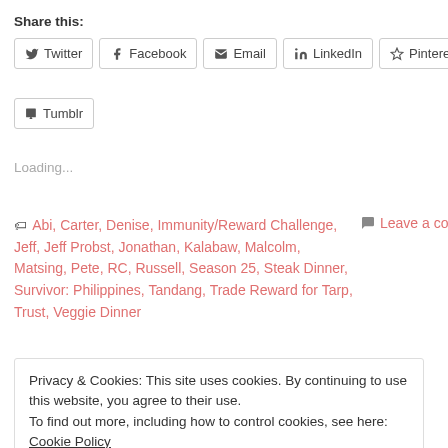Share this:
Twitter | Facebook | Email | LinkedIn | Pinterest | Tumblr
Loading...
Abi, Carter, Denise, Immunity/Reward Challenge, Jeff, Jeff Probst, Jonathan, Kalabaw, Malcolm, Matsing, Pete, RC, Russell, Season 25, Steak Dinner, Survivor: Philippines, Tandang, Trade Reward for Tarp, Trust, Veggie Dinner
Leave a comment
Privacy & Cookies: This site uses cookies. By continuing to use this website, you agree to their use.
To find out more, including how to control cookies, see here: Cookie Policy
Close and accept